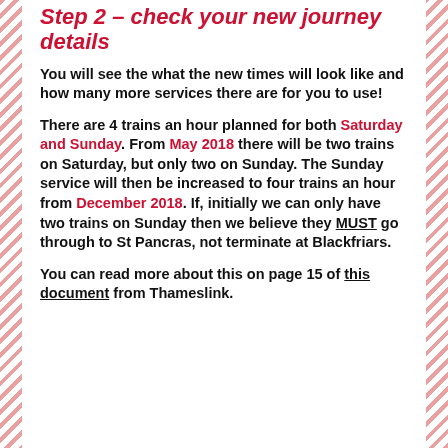Step 2 – check your new journey details
You will see the what the new times will look like and how many more services there are for you to use!
There are 4 trains an hour planned for both Saturday and Sunday. From May 2018 there will be two trains on Saturday, but only two on Sunday. The Sunday service will then be increased to four trains an hour from December 2018. If, initially we can only have two trains on Sunday then we believe they MUST go through to St Pancras, not terminate at Blackfriars.
You can read more about this on page 15 of this document from Thameslink.